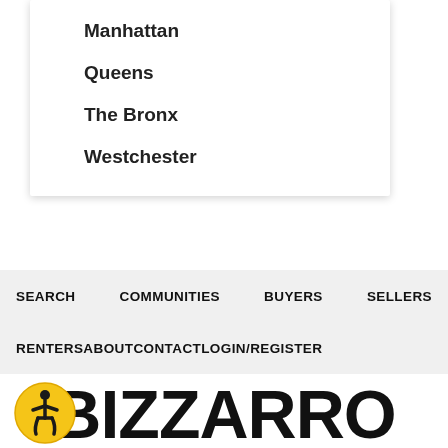Manhattan
Queens
The Bronx
Westchester
SEARCH   COMMUNITIES   BUYERS   SELLERS   RENTERS   ABOUT   CONTACT   LOGIN/REGISTER
BIZZARRO
BIZZARRO